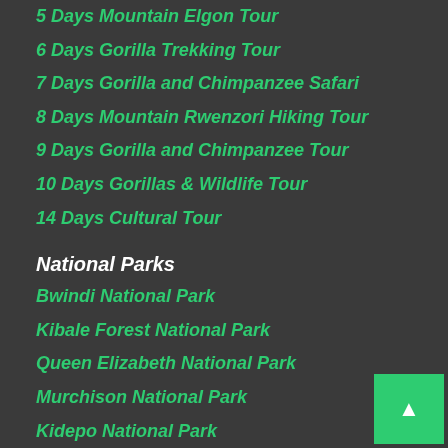5 Days Mountain Elgon Tour
6 Days Gorilla Trekking Tour
7 Days Gorilla and Chimpanzee Safari
8 Days Mountain Rwenzori Hiking Tour
9 Days Gorilla and Chimpanzee Tour
10 Days Gorillas & Wildlife Tour
14 Days Cultural Tour
National Parks
Bwindi National Park
Kibale Forest National Park
Queen Elizabeth National Park
Murchison National Park
Kidepo National Park